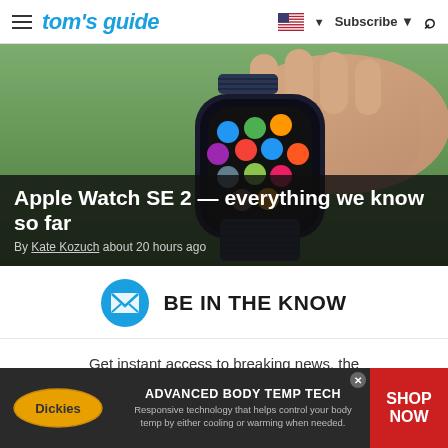tom's guide | Subscribe | Search
[Figure (photo): Hand holding an Apple Watch with colorful app icons on display, woven band]
Apple Watch SE 2 — everything we know so far
By Kate Kozuch about 20 hours ago
BE IN THE KNOW
Get instant access to breaking news, the hottest reviews, great deals and helpful
[Figure (advertisement): Dickies Advanced Body Temp Tech advertisement with Shop Now button]